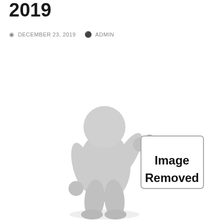2019
DECEMBER 23, 2019   ADMIN
[Figure (illustration): A 3D white faceless figure holding a sign that reads 'Image Removed']